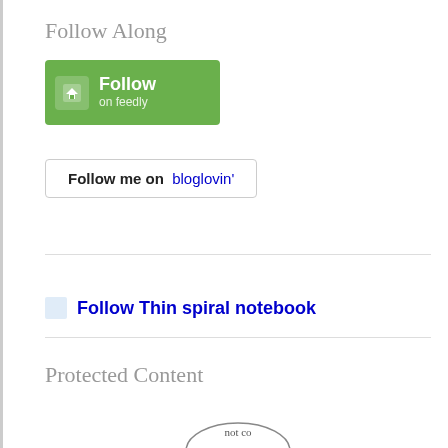Follow Along
[Figure (logo): Green Feedly 'Follow on feedly' button with white arrow/leaf icon on left and 'Follow on feedly' text on right]
[Figure (logo): Bloglovin follow button: white rectangle with border reading 'Follow me on bloglovin']
[Figure (logo): Light blue icon followed by bold blue text: 'Follow Thin spiral notebook']
Protected Content
[Figure (logo): Circular badge/logo at bottom, partially visible, showing 'not co...']